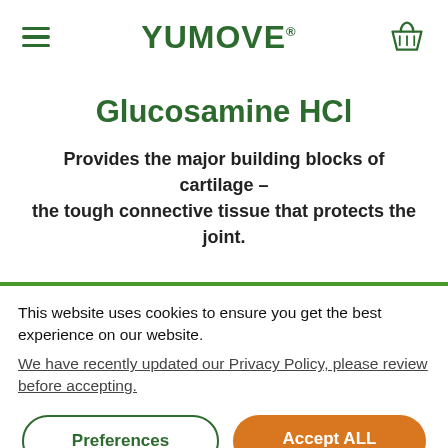YuMOVE®
Glucosamine HCl
Provides the major building blocks of cartilage – the tough connective tissue that protects the joint.
This website uses cookies to ensure you get the best experience on our website.
We have recently updated our Privacy Policy, please review before accepting.
Preferences
Accept ALL